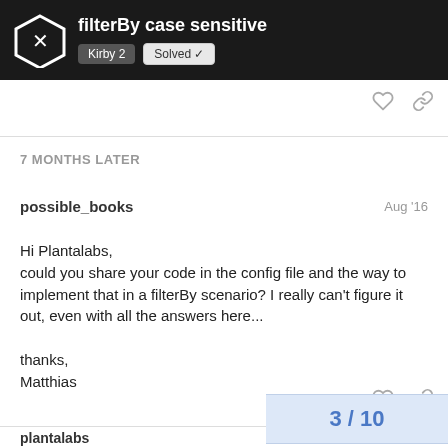filterBy case sensitive — Kirby 2 | Solved
7 MONTHS LATER
possible_books    Aug '16
Hi Plantalabs,
could you share your code in the config file and the way to implement that in a filterBy scenario? I really can't figure it out, even with all the answers here...

thanks,
Matthias
3 / 10
plantalabs